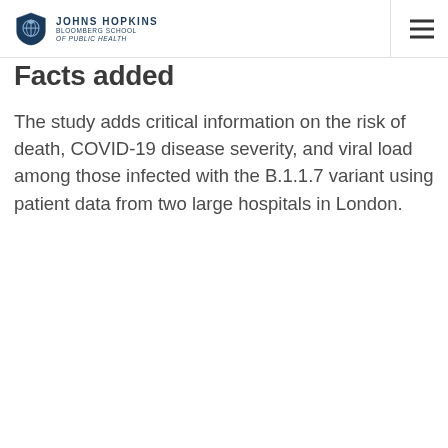Johns Hopkins Bloomberg School of Public Health
Facts added
The study adds critical information on the risk of death, COVID-19 disease severity, and viral load among those infected with the B.1.1.7 variant using patient data from two large hospitals in London.